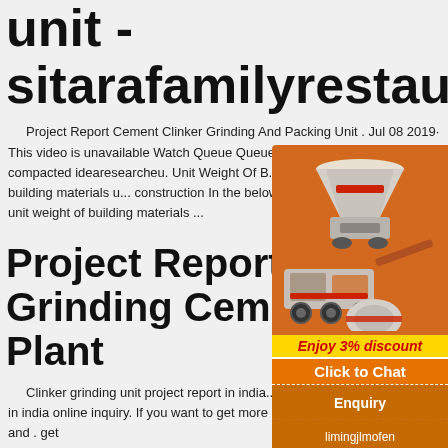unit - sitarafamilyrestaurant
Project Report Cement Clinker Grinding And Packing Unit . Jul 08 2019· This video is unavailable Watch Queue Queue Watch Queue Queue. u... compacted idearesearcheu. Unit Weight Of B... Materials There are many building materials u... construction In the below table we have tried t... the unit weight of building materials ...
Project Report On Grinding Cement Plant
Clinker grinding unit project report in india... grinding unit project report in india online inquiry. If you want to get more detailed product information and . get
[Figure (illustration): Advertisement panel with orange background showing industrial machinery (crusher, mill, conveyor) images. Contains 'Enjoy 3% discount' in yellow bar, 'Click to Chat' in orange bar, 'Enquiry' button, and email limingjlmofen@sina.com]
Enjoy 3% discount
Click to Chat
Enquiry
limingjlmofen@sina.com